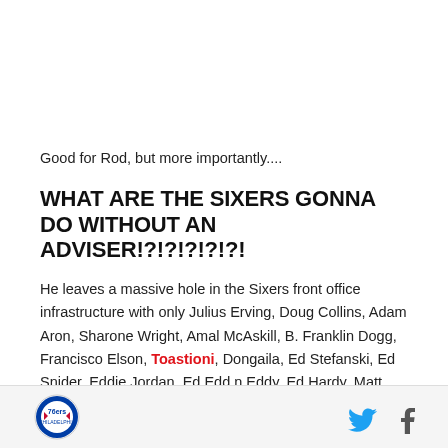Good for Rod, but more importantly....
WHAT ARE THE SIXERS GONNA DO WITHOUT AN ADVISER!?!?!?!?!?!
He leaves a massive hole in the Sixers front office infrastructure with only Julius Erving, Doug Collins, Adam Aron, Sharone Wright, Amal McAskill, B. Franklin Dogg, Francisco Elson, Toastioni, Dongaila, Ed Stefanski, Ed Snider, Eddie Jordan, Ed Edd n Eddy, Ed Hardy, Matt and Jeff Hardy, Matt Saracen, Jeff
[Figure (logo): Philadelphia 76ers circular logo]
[Figure (logo): Twitter bird icon]
[Figure (logo): Facebook f icon]